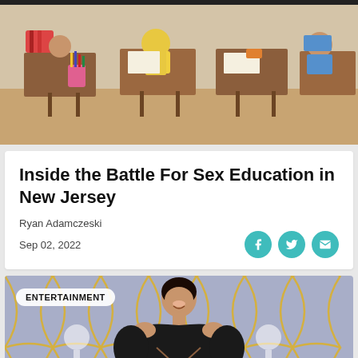[Figure (photo): Classroom photo showing children sitting at desks from behind, colorful pencil cups and school supplies visible]
Inside the Battle For Sex Education in New Jersey
Ryan Adamczeski
Sep 02, 2022
[Figure (photo): Entertainment section photo: woman in black off-shoulder dress posing at an event with decorative backdrop featuring gold and grey pattern with Tony Award logos. Badge reads ENTERTAINMENT]